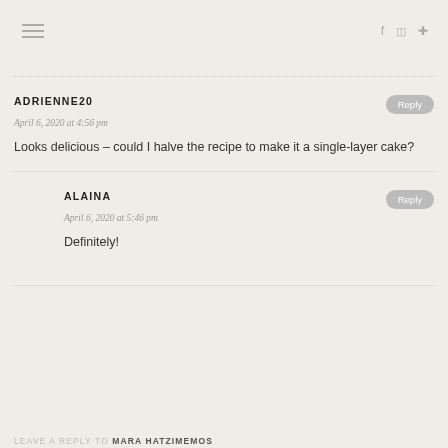≡   f  ☷  ⊕
ADRIENNE20
April 6, 2020 at 4:56 pm
Looks delicious – could I halve the recipe to make it a single-layer cake?
ALAINA
April 6, 2020 at 5:46 pm
Definitely!
LEAVE A REPLY TO  MARA HATZIMEMOS